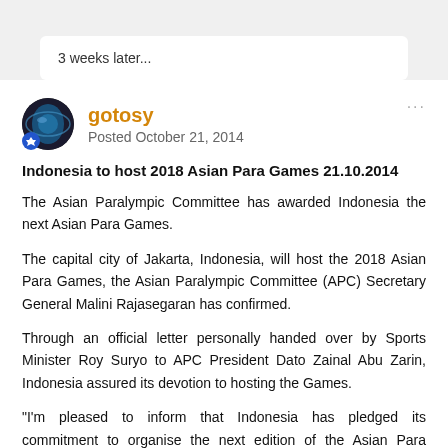3 weeks later...
gotosy
Posted October 21, 2014
Indonesia to host 2018 Asian Para Games 21.10.2014
The Asian Paralympic Committee has awarded Indonesia the next Asian Para Games.
The capital city of Jakarta, Indonesia, will host the 2018 Asian Para Games, the Asian Paralympic Committee (APC) Secretary General Malini Rajasegaran has confirmed.
Through an official letter personally handed over by Sports Minister Roy Suryo to APC President Dato Zainal Abu Zarin, Indonesia assured its devotion to hosting the Games.
“I’m pleased to inform that Indonesia has pledged its commitment to organise the next edition of the Asian Para Games in 2018,”